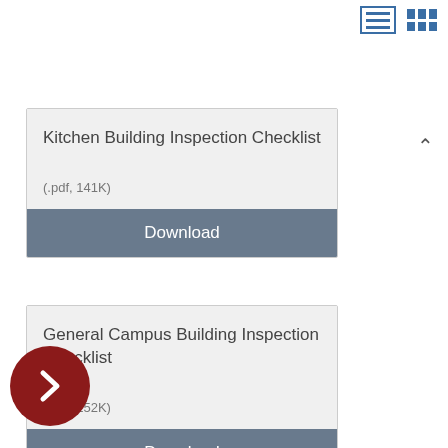[Figure (screenshot): Top-right UI icons: list view and grid view toggle buttons in blue]
[Figure (infographic): Horizontal divider line with upward chevron on right]
Kitchen Building Inspection Checklist
(.pdf, 141K)
Download
General Campus Building Inspection Checklist
(.pdf, 152K)
Download
[Figure (illustration): Dark red circular navigation arrow button pointing right]